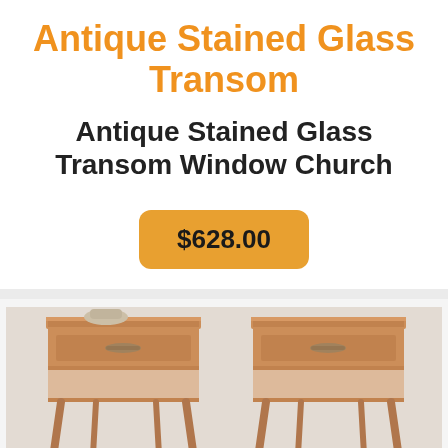Antique Stained Glass Transom
Antique Stained Glass Transom Window Church
$628.00
[Figure (photo): Photo of two antique wooden end tables/nightstands with drawers and open shelf, French provincial style, placed on a patterned rug]